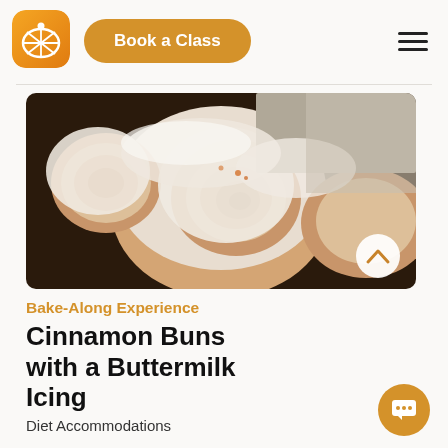[Figure (logo): Orange/yellow gradient square icon with rounded corners, showing a white citrus slice illustration]
Book a Class
[Figure (photo): Close-up photo of cinnamon buns covered in white buttermilk icing in a baking tray]
Bake-Along Experience
Cinnamon Buns with a Buttermilk Icing
Diet Accommodations